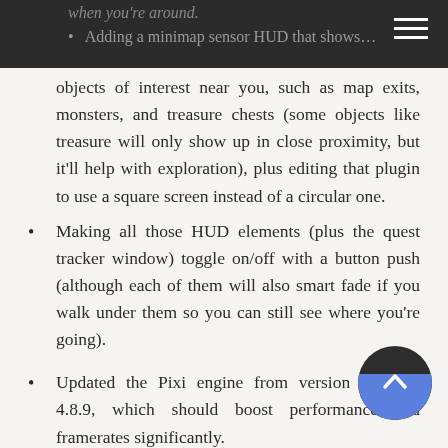objects of interest near you, such as map exits, monsters, and treasure chests (some objects like treasure will only show up in close proximity, but it'll help with exploration), plus editing that plugin to use a square screen instead of a circular one.
Making all those HUD elements (plus the quest tracker window) toggle on/off with a button push (although each of them will also smart fade if you walk under them so you can still see where you're going).
Updated the Pixi engine from version 4.5.4 to 4.8.9, which should boost performance and framerates significantly.
A bunch of smaller changes and tweaks to improve the overall experience and make my work easier.